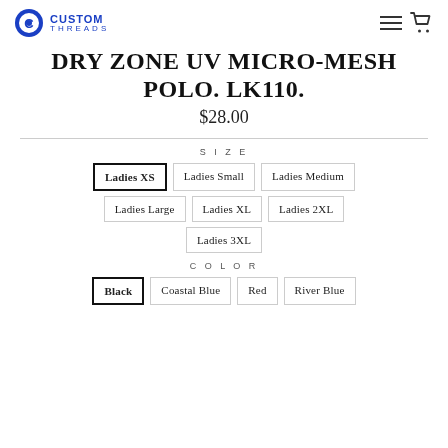Custom Threads
DRY ZONE UV MICRO-MESH POLO. LK110.
$28.00
SIZE
Ladies XS (selected)
Ladies Small
Ladies Medium
Ladies Large
Ladies XL
Ladies 2XL
Ladies 3XL
COLOR
Black (selected)
Coastal Blue
Red
River Blue